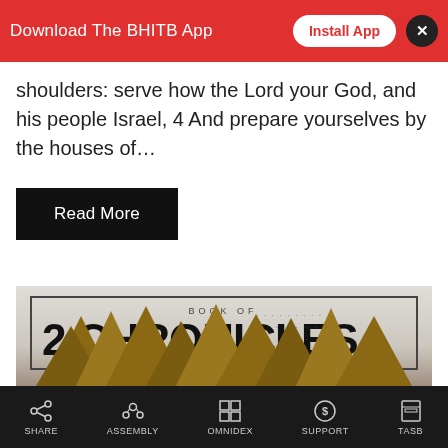[Figure (screenshot): Red app download banner with 'Download The BHITB App' text, 'Install App' button, and close X button]
shoulders: serve how the Lord your God, and his people Israel, 4 And prepare yourselves by the houses of…
Read More
[Figure (illustration): Book of 2 Chronicles title card with framed text over a grey sky background with pine trees and birds in flight]
SHARE   ASSEMBLY   OMNIDEX   SUPPORT   TASB